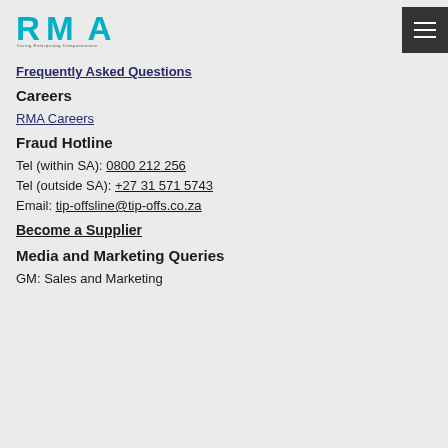RMA logo and navigation menu
Frequently Asked Questions
Careers
RMA Careers
Fraud Hotline
Tel (within SA): 0800 212 256
Tel (outside SA): +27 31 571 5743
Email: tip-offsline@tip-offs.co.za
Become a Supplier
Media and Marketing Queries
GM: Sales and Marketing